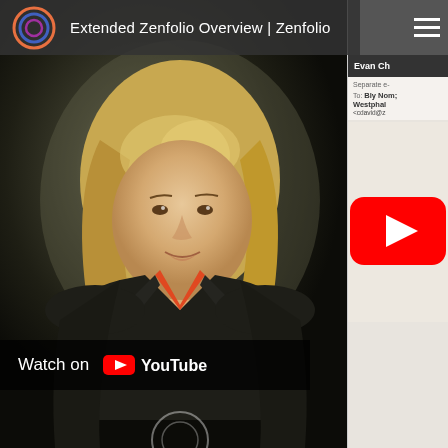[Figure (screenshot): YouTube video screenshot showing a woman with blonde wavy hair wearing a dark jacket with orange shirt underneath, speaking to camera. The video title bar shows 'Extended Zenfolio Overview | Zenfolio' with the Zenfolio logo (colorful circle). A 'Watch on YouTube' bar is visible at the bottom left. On the right side is a partially visible email/app interface showing 'Evan Ch' header and email 'To' field with names including 'Bly Nom', 'Westphal', '<cdavid@z'. A YouTube play button (red rounded rectangle with white triangle) appears on the right side overlay.]